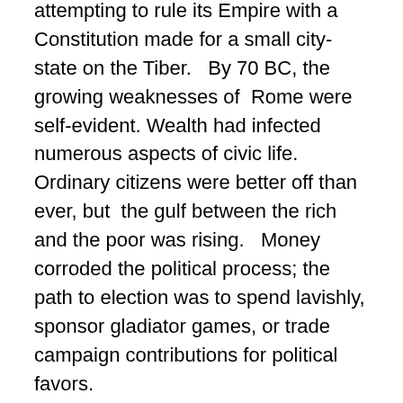attempting to rule its Empire with a Constitution made for a small city-state on the Tiber.   By 70 BC, the growing weaknesses of  Rome were self-evident. Wealth had infected numerous aspects of civic life.  Ordinary citizens were better off than ever, but  the gulf between the rich and the poor was rising.   Money corroded the political process; the path to election was to spend lavishly, sponsor gladiator games, or trade campaign contributions for political favors.
By the first century BC, the Senate and governors reflected the decadence of Rome.  Small farming was almost gone, and  the Italian citizen-militia was replaced by a professional army.
Two political parties now dominated.   The Optimates  — many from the Senatorial class — claimed to preserve the